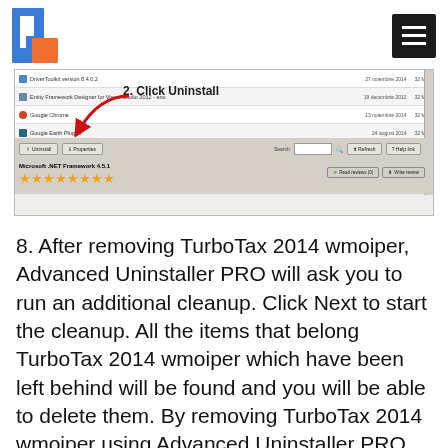[Figure (logo): Blue and orange square logo with letter C/bracket shapes]
[Figure (screenshot): Windows Control Panel Programs list screenshot showing 'Click Uninstall' annotation with red arrow pointing to Uninstall button. Shows programs including DriverToolkit, Entity Framework Designer, Google Chrome, Google Earth Plug-in. Bottom shows Microsoft .NET Framework 4.5.1 with star rating and review buttons.]
8. After removing TurboTax 2014 wmoiper, Advanced Uninstaller PRO will ask you to run an additional cleanup. Click Next to start the cleanup. All the items that belong TurboTax 2014 wmoiper which have been left behind will be found and you will be able to delete them. By removing TurboTax 2014 wmoiper using Advanced Uninstaller PRO, you are assured that no registry entries, files or